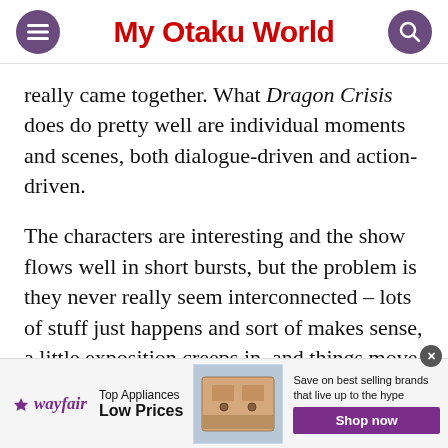My Otaku World
really came together. What Dragon Crisis does do pretty well are individual moments and scenes, both dialogue-driven and action-driven.
The characters are interesting and the show flows well in short bursts, but the problem is they never really seem interconnected – lots of stuff just happens and sort of makes sense, a little exposition creeps in, and things move along a little farther.
[Figure (infographic): Wayfair advertisement banner: Top Appliances Low Prices, Save on best selling brands that live up to the hype, Shop now button]